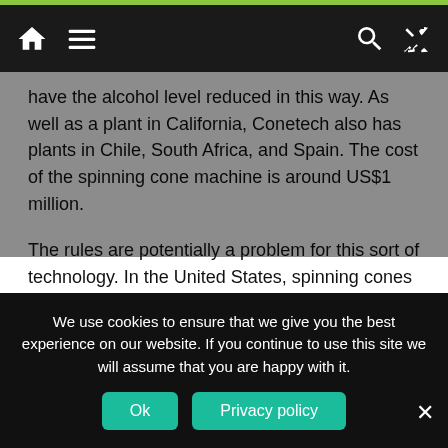Navigation bar with home, menu, search, and shuffle icons
have the alcohol level reduced in this way. As well as a plant in California, Conetech also has plants in Chile, South Africa, and Spain. The cost of the spinning cone machine is around US$1 million.
The rules are potentially a problem for this sort of technology. In the United States, spinning cones have been authorized for alcohol reduction, but in Europe this technique used to be allowed only on an experimental basis. This meant that you were allowed to treat 50,000 hectolitres, but the wine couldn't leave the country of origin. But in November 2008 the EU
We use cookies to ensure that we give you the best experience on our website. If you continue to use this site we will assume that you are happy with it.